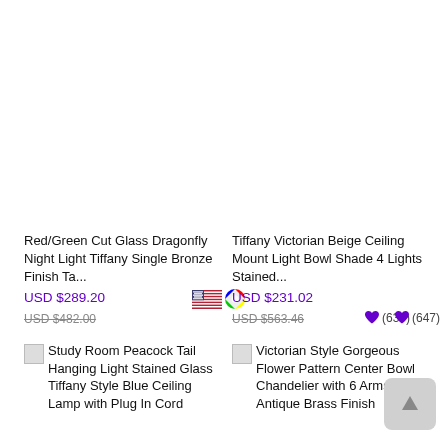Red/Green Cut Glass Dragonfly Night Light Tiffany Single Bronze Finish Ta...
USD $289.20
USD $482.00
(639)
Tiffany Victorian Beige Ceiling Mount Light Bowl Shade 4 Lights Stained...
USD $231.02
USD $563.46
(647)
Study Room Peacock Tail Hanging Light Stained Glass Tiffany Style Blue Ceiling Lamp with Plug In Cord
Victorian Style Gorgeous Flower Pattern Center Bowl Chandelier with 6 Arms in Antique Brass Finish